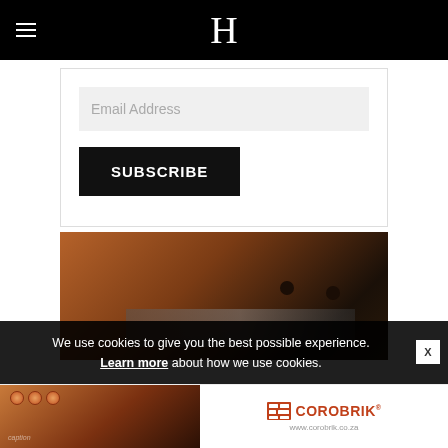H
Email Address
SUBSCRIBE
[Figure (photo): Interior restaurant/bar photo showing warm brown ceiling with pendant lights hanging from a diagonal beam, dark ambiance]
We use cookies to give you the best possible experience. Learn more about how we use cookies.
[Figure (photo): Advertisement showing food items (pastries/snacks) on a table, with Corobrik logo and website www.corobrik.co.za on the right side]